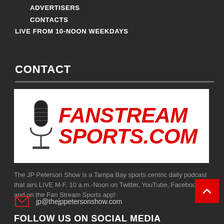ADVERTISERS
CONTACTS
LIVE FROM 10-NOON WEEKDAYS
CONTACT
[Figure (logo): FanStream Sports.com logo with microphone icon and bold red italic text]
The JP Peterson Show is a Tampa Bay sports centric daily podcast that airs LIVE M-F, 10 a.m.-Noon on Twitter, YouTube, Facebook and on the Fan Stream Sports app!
jp@thejppetersonshow.com
FOLLOW US ON SOCIAL MEDIA